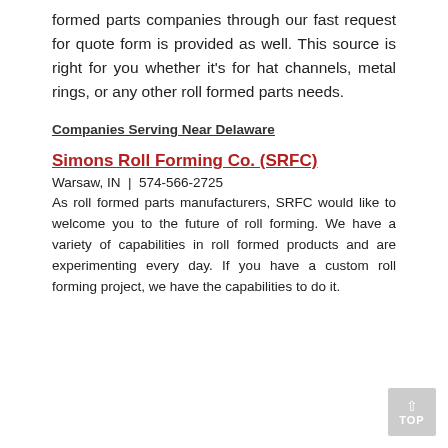formed parts companies through our fast request for quote form is provided as well. This source is right for you whether it's for hat channels, metal rings, or any other roll formed parts needs.
Companies Serving Near Delaware
Simons Roll Forming Co. (SRFC)
Warsaw, IN  |  574-566-2725
As roll formed parts manufacturers, SRFC would like to welcome you to the future of roll forming. We have a variety of capabilities in roll formed products and are experimenting every day. If you have a custom roll forming project, we have the capabilities to do it.